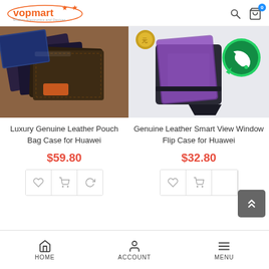[Figure (logo): Vopmart logo with orange star and text, subtitle 'Modern Electronics and Devices']
[Figure (photo): Luxury Genuine Leather Pouch Bag Case for Huawei - brown leather wallet cases on wooden background]
Luxury Genuine Leather Pouch Bag Case for Huawei
$59.80
[Figure (photo): Genuine Leather Smart View Window Flip Case for Huawei - black phone stand case with WhatsApp logo overlay]
Genuine Leather Smart View Window Flip Case for Huawei
$32.80
HOME   ACCOUNT   MENU